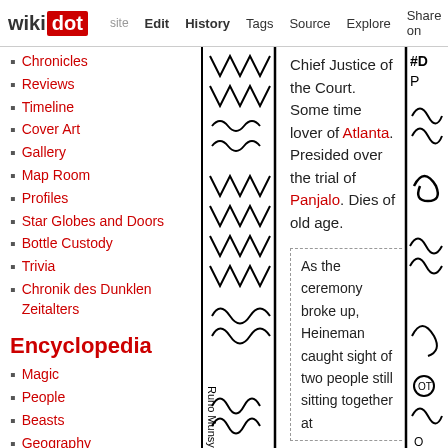wikidot | site | Edit | History | Tags | Source | Explore | Share on Twitter
Chronicles
Reviews
Timeline
Cover Art
Gallery
Map Room
Profiles
Star Globes and Doors
Bottle Custody
Trivia
Chronik des Dunklen Zeitalters
Encyclopedia
Magic
People
Beasts
Geography
Swarms
Language
Races
Religion
[Figure (illustration): Decorative black and white hand-drawn illustration column with zig-zag and swirling patterns]
Chief Justice of the Court. Some time lover of Atlanta. Presided over the trial of Panjalo. Dies of old age.
As the ceremony broke up, Heineman caught sight of two people still sitting together at
[Figure (illustration): Decorative black and white hand-drawn illustration column on the far right with swirling patterns]